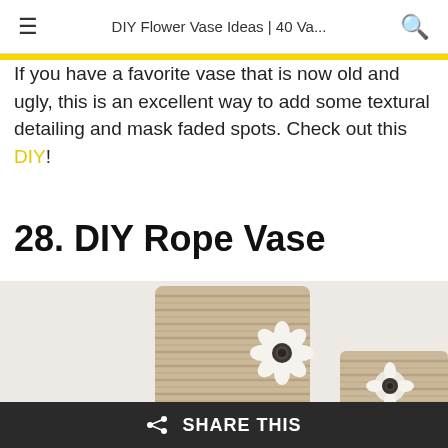DIY Flower Vase Ideas | 40 Va...
If you have a favorite vase that is now old and ugly, this is an excellent way to add some textural detailing and mask faded spots. Check out this DIY!
28. DIY Rope Vase
[Figure (photo): Two cylindrical vases wrapped in rope/twine, decorated with small white fabric flowers with dark center buttons, on a light background]
SHARE THIS